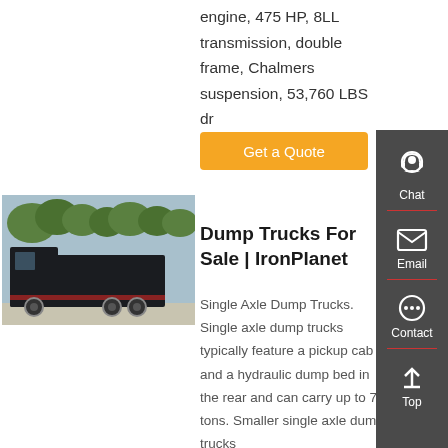engine, 475 HP, 8LL transmission, double frame, Chalmers suspension, 53,760 LBS dr
Get a Quote
[Figure (photo): A dump truck photographed from the side in an outdoor area with trees in the background]
Dump Trucks For Sale | IronPlanet
Single Axle Dump Trucks. Single axle dump trucks typically feature a pickup cab and a hydraulic dump bed in the rear and can carry up to 7.5 tons. Smaller single axle dump trucks